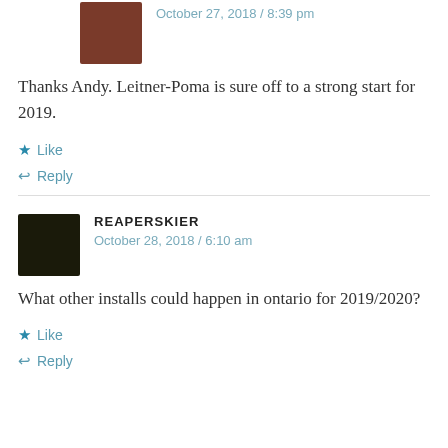[Figure (photo): Avatar of user in red jacket]
October 27, 2018 / 8:39 pm
Thanks Andy. Leitner-Poma is sure off to a strong start for 2019.
★ Like
↩ Reply
[Figure (photo): Avatar of user REAPERSKIER with dark background]
REAPERSKIER
October 28, 2018 / 6:10 am
What other installs could happen in ontario for 2019/2020?
★ Like
↩ Reply